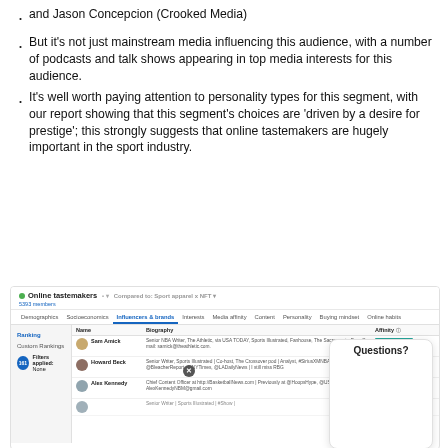and Jason Concepcion (Crooked Media)
But it's not just mainstream media influencing this audience, with a number of podcasts and talk shows appearing in top media interests for this audience.
It's well worth paying attention to personality types for this segment, with our report showing that this segment's choices are 'driven by a desire for prestige'; this strongly suggests that online tastemakers are hugely important in the sport industry.
[Figure (screenshot): Dashboard screenshot showing 'Online tastemakers' audience compared to 'Sport apparel x NFT'. Shows Influencers & brands tab with ranking of Sam Amick, Howard Beck, Alex Kennedy influencers with biography and affinity data. A 'Questions?' chat bubble appears in the bottom right.]